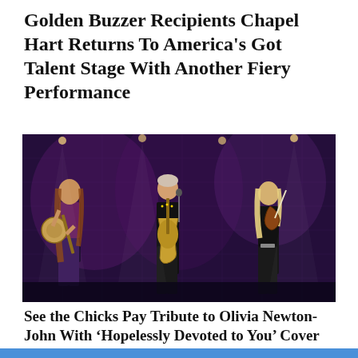Golden Buzzer Recipients Chapel Hart Returns To America's Got Talent Stage With Another Fiery Performance
[Figure (photo): Three women performing on a dark stage: left woman plays banjo wearing leather pants and pink top, center woman sings and plays guitar in black studded outfit, right woman plays violin in all black. Stage has dramatic purple/dark lighting with a grid backdrop.]
See the Chicks Pay Tribute to Olivia Newton-John With ‘Hopelessly Devoted to You’ Cover